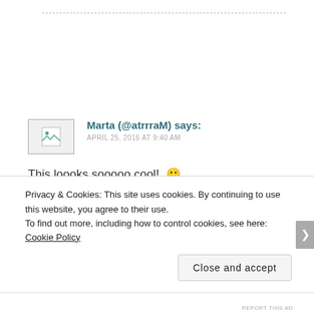Marta (@atrrraM) says: APRIL 25, 2016 AT 9:40 AM
This loooks sooooo cool! 🙂
thisissimplyme.com
Privacy & Cookies: This site uses cookies. By continuing to use this website, you agree to their use. To find out more, including how to control cookies, see here: Cookie Policy
Close and accept